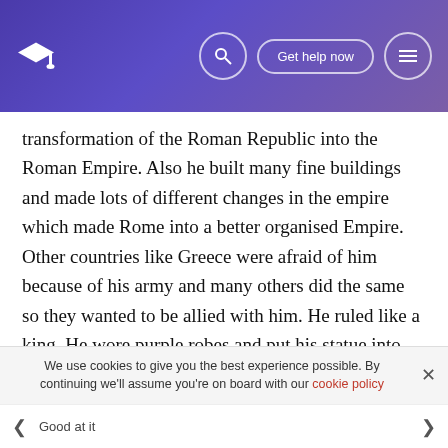Get help now
transformation of the Roman Republic into the Roman Empire. Also he built many fine buildings and made lots of different changes in the empire which made Rome into a better organised Empire. Other countries like Greece were afraid of him because of his army and many others did the same so they wanted to be allied with him. He ruled like a king. He wore purple robes and put his statue into the hall of kings. But his soliders and his people still loved him.
But still, he found enemies in the Roman senate. And he was actually killed by these powerful senates. They were too afraid of him.
We use cookies to give you the best experience possible. By continuing we'll assume you're on board with our cookie policy
Good at it